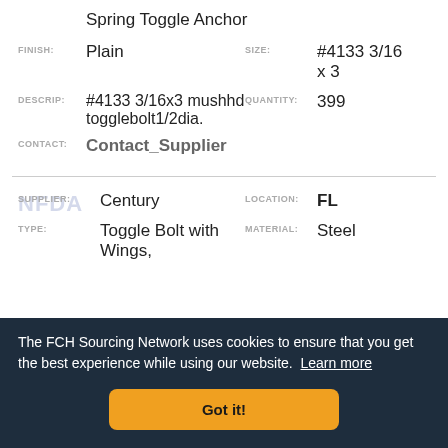Spring Toggle Anchor
FINISH: Plain   SIZE: #4133 3/16 x 3
DESCRIP: #4133 3/16x3 mushhd togglebolt1/2dia.   QUANTITY: 399
CONTACT: Contact_Supplier
SUPPLIER: Century   LOCATION: FL
TYPE: Toggle Bolt with Wings,   MATERIAL: Steel
The FCH Sourcing Network uses cookies to ensure that you get the best experience while using our website. Learn more
Got it!